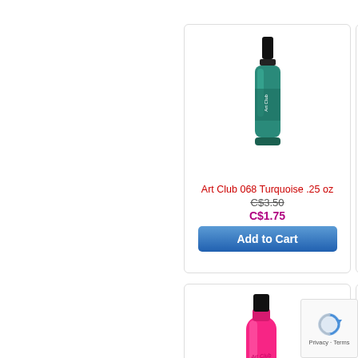[Figure (photo): Art Club 068 Turquoise nail polish bottle, teal/turquoise color with black cap]
Art Club 068 Turquoise .25 oz
C$3.50 (strikethrough original price)
C$1.75 (sale price)
Add to Cart (button)
[Figure (photo): Art Club 072 Technicolor Doll nail polish bottle, hot pink color with black brush applicator cap shown open]
Art Club 072 Technicolor Doll oz
C$3.50 (strikethrough original price)